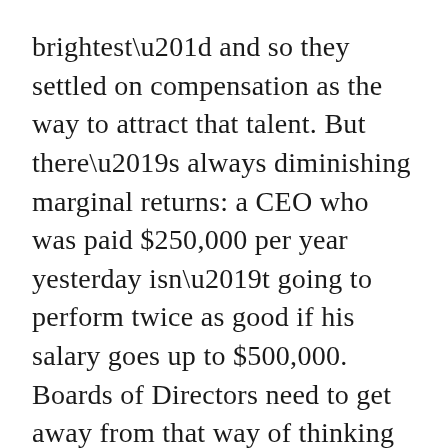brightest” and so they settled on compensation as the way to attract that talent. But there’s always diminishing marginal returns: a CEO who was paid $250,000 per year yesterday isn’t going to perform twice as good if his salary goes up to $500,000. Boards of Directors need to get away from that way of thinking and get more creative. After all, they’re beholden to shareholders and its their right and duty to make their companies places executives would